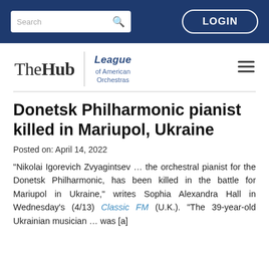Search | LOGIN
[Figure (logo): The Hub | League of American Orchestras logo with hamburger menu]
Donetsk Philharmonic pianist killed in Mariupol, Ukraine
Posted on: April 14, 2022
“Nikolai Igorevich Zvyagintsev … the orchestral pianist for the Donetsk Philharmonic, has been killed in the battle for Mariupol in Ukraine,” writes Sophia Alexandra Hall in Wednesday’s (4/13) Classic FM (U.K.). “The 39-year-old Ukrainian musician … was [a]